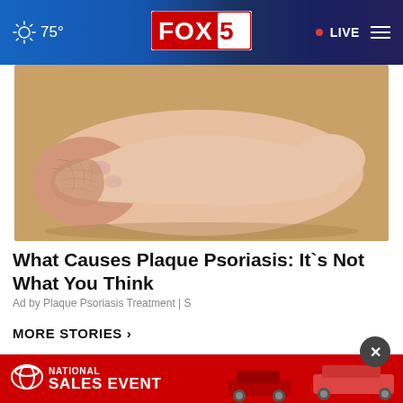75° FOX 5 • LIVE
[Figure (photo): Close-up photo of the bottom of a human foot showing dry, cracked skin on the heel and sole, indicative of psoriasis, on a beige/tan background.]
What Causes Plaque Psoriasis: It`s Not What You Think
Ad by Plaque Psoriasis Treatment | S
MORE STORIES ›
[Figure (photo): Small thumbnail image showing a penguin, partially visible at the bottom left.]
Disabled penguin gets custo...
[Figure (photo): Toyota National Sales Event advertisement banner showing red background with Toyota logo, 'NATIONAL SALES EVENT' text, and images of Toyota SUV vehicles on the right side.]